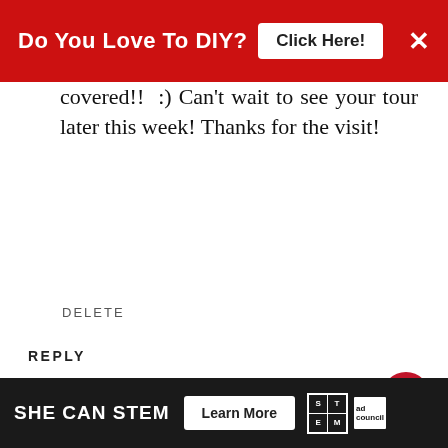[Figure (screenshot): Red advertisement banner at top reading 'Do You Love To DIY?' with 'Click Here!' button and X close button]
covered!! :) Can't wait to see your tour later this week! Thanks for the visit!
DELETE
REPLY
DD's Cottage
SEPTEMBER 15, 2015 AT 9:59 AM
Love your home and how cozy it looks! The weather has b summer like here too until about 2 days ago and I am finally feeling a
[Figure (screenshot): Bottom advertisement banner: SHE CAN STEM with Learn More button, STEM grid logo, ad council logo]
[Figure (screenshot): WHAT'S NEXT arrow overlay with thumbnail and 'Decorating For Fall: The...' text]